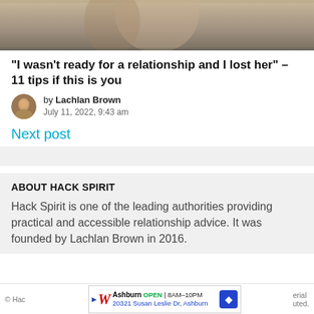[Figure (photo): Cropped top portion of a photo showing two people embracing outdoors, warm tones]
“I wasn’t ready for a relationship and I lost her” – 11 tips if this is you
by Lachlan Brown
July 11, 2022, 9:43 am
Next post
ABOUT HACK SPIRIT
Hack Spirit is one of the leading authorities providing practical and accessible relationship advice. It was founded by Lachlan Brown in 2016.
© Hack Spirit ... Ashburn OPEN 8AM–10PM 20321 Susan Leslie Dr, Ashburn ... uted.